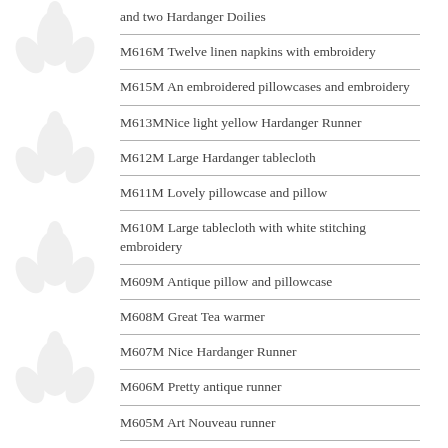and two Hardanger Doilies
M616M Twelve linen napkins with embroidery
M615M An embroidered pillowcases and embroidery
M613MNice light yellow Hardanger Runner
M612M Large Hardanger tablecloth
M611M Lovely pillowcase and pillow
M610M Large tablecloth with white stitching embroidery
M609M Antique pillow and pillowcase
M608M Great Tea warmer
M607M Nice Hardanger Runner
M606M Pretty antique runner
M605M Art Nouveau runner
M604M Hardanger pillow